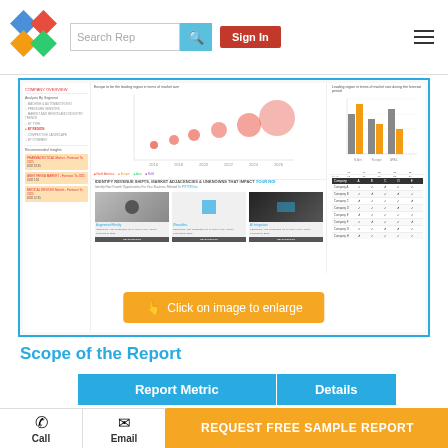Search Rep | Sign In
[Figure (screenshot): Market research report platform screenshot showing dashboard with bubble chart, bar chart, competitor table, and recommended insights panel]
Click on image to enlarge
Scope of the Report
| Report Metric | Details |
| --- | --- |
We use cookies to enhance your experience. By continuing to visit this site you agree to our use of cookies . More info.
REQUEST FREE SAMPLE REPORT